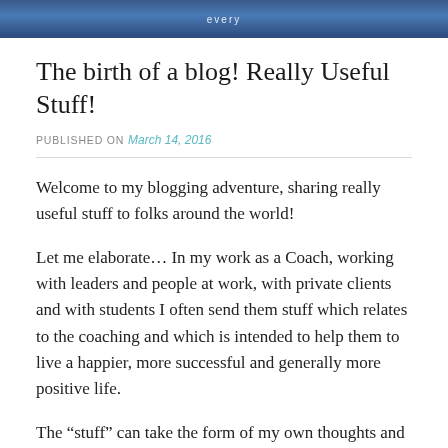[Figure (photo): Banner image with blue background and word/text overlay, partially visible at top of page]
The birth of a blog! Really Useful Stuff!
PUBLISHED ON March 14, 2016
Welcome to my blogging adventure, sharing really useful stuff to folks around the world!
Let me elaborate… In my work as a Coach, working with leaders and people at work, with private clients and with students I often send them stuff which relates to the coaching and which is intended to help them to live a happier, more successful and generally more positive life.
The “stuff” can take the form of my own thoughts and